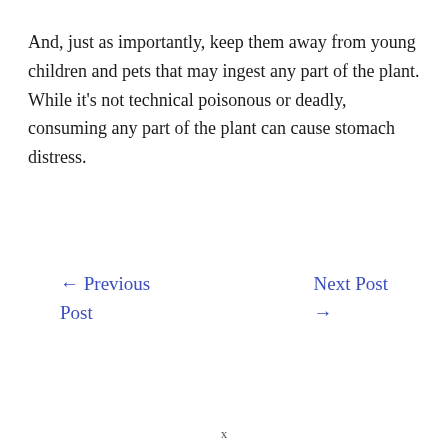And, just as importantly, keep them away from young children and pets that may ingest any part of the plant. While it's not technical poisonous or deadly, consuming any part of the plant can cause stomach distress.
← Previous Post
Next Post →